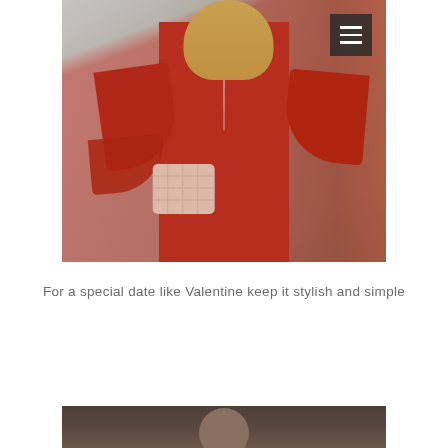[Figure (photo): Woman wearing a red bell-sleeve dress holding a pink quilted crossbody bag, with a hamburger menu icon overlay in the upper right corner of the photo]
For a special date like Valentine keep it stylish and simple
[Figure (photo): Partial view of another fashion photo, cropped at bottom of page]